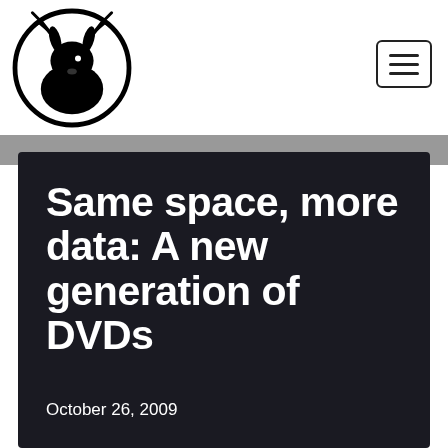[Figure (logo): Circular logo with a jackalope (jackrabbit with antlers) silhouette in black and white]
Same space, more data: A new generation of DVDs
October 26, 2009